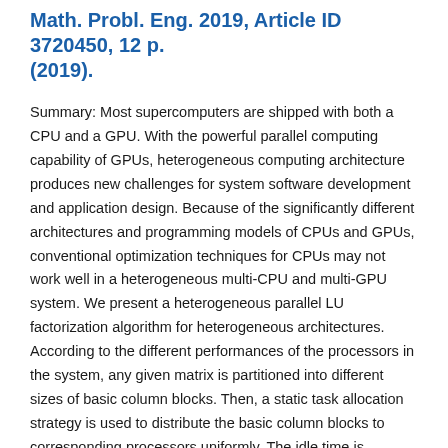Math. Probl. Eng. 2019, Article ID 3720450, 12 p. (2019).
Summary: Most supercomputers are shipped with both a CPU and a GPU. With the powerful parallel computing capability of GPUs, heterogeneous computing architecture produces new challenges for system software development and application design. Because of the significantly different architectures and programming models of CPUs and GPUs, conventional optimization techniques for CPUs may not work well in a heterogeneous multi-CPU and multi-GPU system. We present a heterogeneous parallel LU factorization algorithm for heterogeneous architectures. According to the different performances of the processors in the system, any given matrix is partitioned into different sizes of basic column blocks. Then, a static task allocation strategy is used to distribute the basic column blocks to corresponding processors uniformly. The idle time is